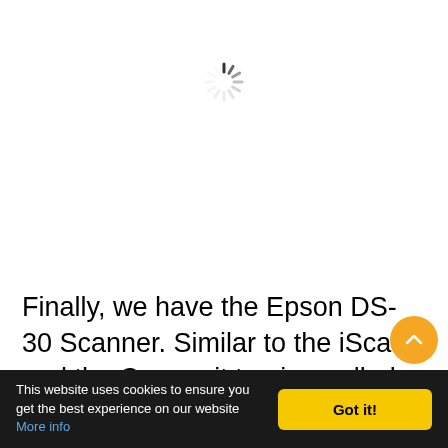[Figure (other): Loading spinner / activity indicator — circular dashed spinner graphic centered near top of page]
Finally, we have the Epson DS-30 Scanner. Similar to the iScan and the Canon, it too is a rolled-up magazine-sized Scanner.
This website uses cookies to ensure you get the best experience on our website More info   Got it!